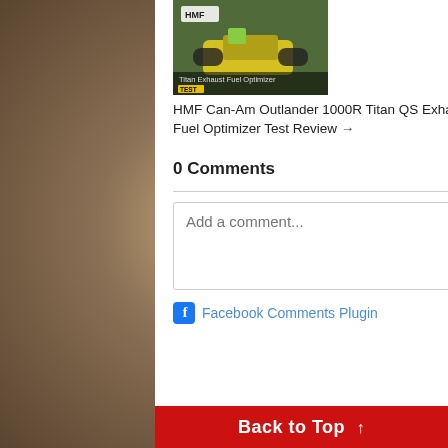[Figure (photo): HMF Can-Am Outlander ATV thumbnail image with yellow vehicle and text 'Titan Exhaust Fuel Optimizer TEST']
HMF Can-Am Outlander 1000R Titan QS Exhaust and Fuel Optimizer Test Review →
[Figure (photo): Honda TRX450R CRF250F MX ATV thumbnail image with red ATV rider and text 'TRX450R CRF250R Hybrid MX Racer']
Honda TRX450R CRF250F MX ATV Review →
0 Comments
Sort by Newest
Add a comment...
Facebook Comments Plugin
Back to Top ↑